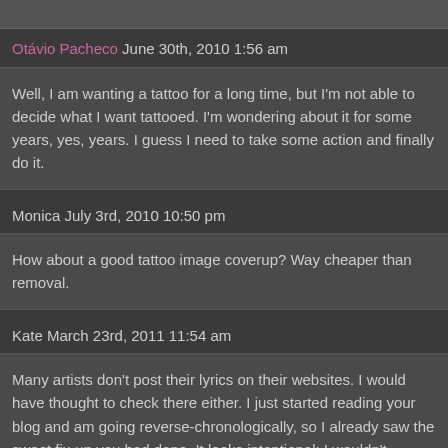Otávio Pacheco June 30th, 2010 1:56 am
Well, I am wanting a tattoo for a long time, but I'm not able to decide what I want tattooed. I'm wondering about it for some years, yes, years. I guess I need to take some action and finally do it.
Monica July 3rd, 2010 10:50 pm
How about a good tattoo image coverup? Way cheaper than removal.
Kate March 23rd, 2011 11:54 am
Many artists don't post their lyrics on their websites. I would have thought to check there either. I just started reading your blog and am going reverse-chronologically, so I already saw the sweet fix-up you had done. It looks intentional; I wouldn't